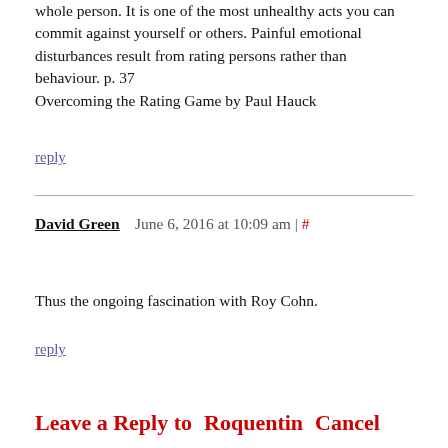whole person. It is one of the most unhealthy acts you can commit against yourself or others. Painful emotional disturbances result from rating persons rather than behaviour. p. 37
Overcoming the Rating Game by Paul Hauck
reply
David Green   June 6, 2016 at 10:09 am | #
Thus the ongoing fascination with Roy Cohn.
reply
Leave a Reply to   Roquentin   Cancel